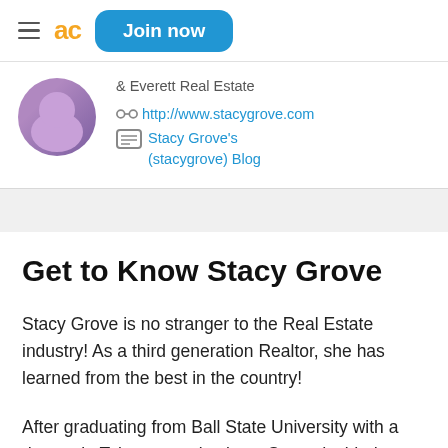≡ ac Join now
& Everett Real Estate
http://www.stacygrove.com
Stacy Grove's (stacygrove) Blog
Get to Know Stacy Grove
Stacy Grove is no stranger to the Real Estate industry! As a third generation Realtor, she has learned from the best in the country!
After graduating from Ball State University with a degree in Telecommunications, Stacy decided to return to West Lafayette